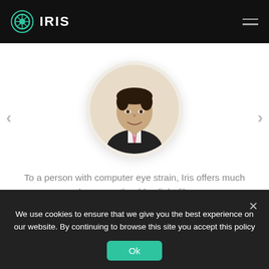IRIS
[Figure (photo): Circular profile photo of Uroš Bole, a man smiling, wearing a dark suit, with a light beige circular background]
To a person with computer eye strain, Iris offers much more than any other blue light filter app.
UROŠ BOLE
We use cookies to ensure that we give you the best experience on our website. By continuing to browse this site you accept this policy